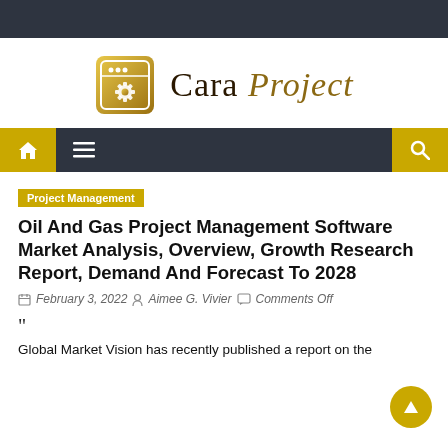[Figure (logo): Cara Project logo with gear icon in a golden browser-window frame and serif text reading 'Cara Project']
Navigation bar with home icon, menu icon, and search icon
Project Management
Oil And Gas Project Management Software Market Analysis, Overview, Growth Research Report, Demand And Forecast To 2028
February 3, 2022  Aimee G. Vivier  Comments Off
"
Global Market Vision has recently published a report on the